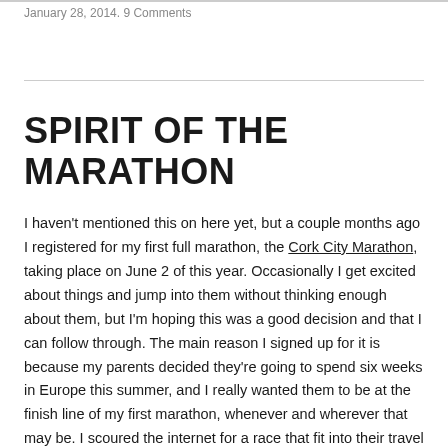January 28, 2014. 9 Comments
SPIRIT OF THE MARATHON
I haven't mentioned this on here yet, but a couple months ago I registered for my first full marathon, the Cork City Marathon, taking place on June 2 of this year. Occasionally I get excited about things and jump into them without thinking enough about them, but I'm hoping this was a good decision and that I can follow through. The main reason I signed up for it is because my parents decided they're going to spend six weeks in Europe this summer, and I really wanted them to be at the finish line of my first marathon, whenever and wherever that may be. I scoured the internet for a race that fit into their travel plans well, and at first I wanted to do the Paris Marathon, but it was sold out, along with the London Marathon. I inquired about